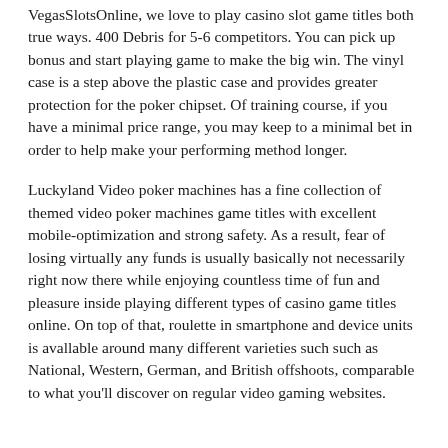VegasSlotsOnline, we love to play casino slot game titles both true ways. 400 Debris for 5-6 competitors. You can pick up bonus and start playing game to make the big win. The vinyl case is a step above the plastic case and provides greater protection for the poker chipset. Of training course, if you have a minimal price range, you may keep to a minimal bet in order to help make your performing method longer.
Luckyland Video poker machines has a fine collection of themed video poker machines game titles with excellent mobile-optimization and strong safety. As a result, fear of losing virtually any funds is usually basically not necessarily right now there while enjoying countless time of fun and pleasure inside playing different types of casino game titles online. On top of that, roulette in smartphone and device units is avallable around many different varieties such such as National, Western, German, and British offshoots, comparable to what you'll discover on regular video gaming websites.